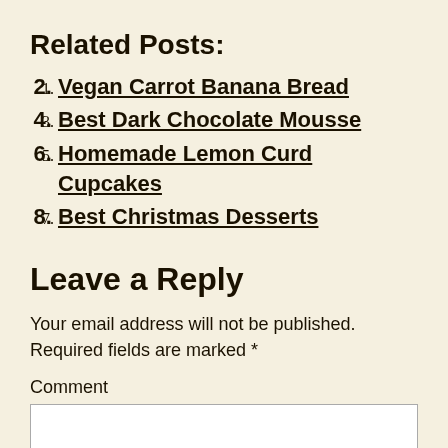Related Posts:
Vegan Carrot Banana Bread
Best Dark Chocolate Mousse
Homemade Lemon Curd Cupcakes
Best Christmas Desserts
Leave a Reply
Your email address will not be published. Required fields are marked *
Comment